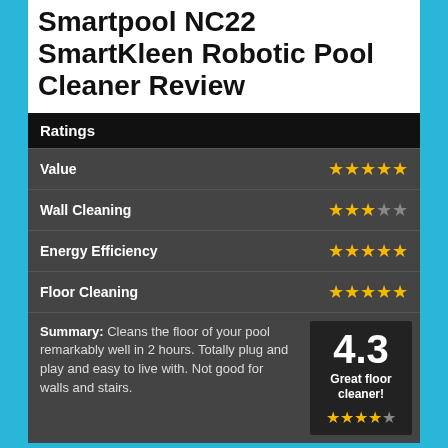Smartpool NC22 SmartKleen Robotic Pool Cleaner Review
| Category | Rating |
| --- | --- |
| Value | 5 stars |
| Wall Cleaning | 3.5 stars |
| Energy Efficiency | 4.5 stars |
| Floor Cleaning | 4.5 stars |
| Summary: Cleans the floor of your pool remarkably well in 2 hours. Totally plug and play and easy to live with. Not good for walls and stairs. | 4.3 Great floor cleaner! |